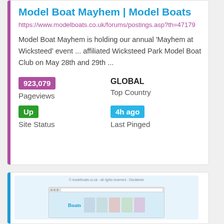Model Boat Mayhem | Model Boats
https://www.modelboats.co.uk/forums/postings.asp?th=47179
Model Boat Mayhem is holding our annual 'Mayhem at Wicksteed' event ... affiliated Wicksteed Park Model Boat Club on May 28th and 29th ...
923,079 Pageviews
GLOBAL Top Country
Up Site Status
4h ago Last Pinged
[Figure (screenshot): Partial screenshot of the Model Boats website showing the Boats magazine logo and page content thumbnail]